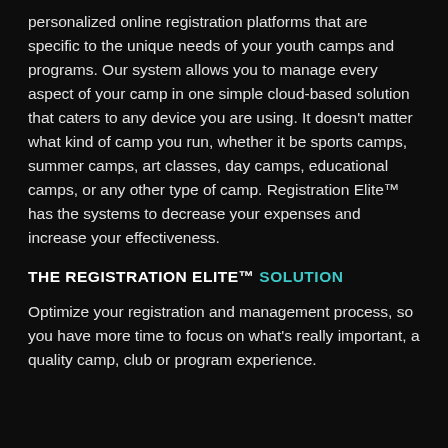personalized online registration platforms that are specific to the unique needs of your youth camps and programs. Our system allows you to manage every aspect of your camp in one simple cloud-based solution that caters to any device you are using. It doesn't matter what kind of camp you run, whether it be sports camps, summer camps, art classes, day camps, educational camps, or any other type of camp. Registration Elite™ has the systems to decrease your expenses and increase your effectiveness.
THE REGISTRATION ELITE™ SOLUTION
Optimize your registration and management process, so you have more time to focus on what's really important, a quality camp, club or program experience.